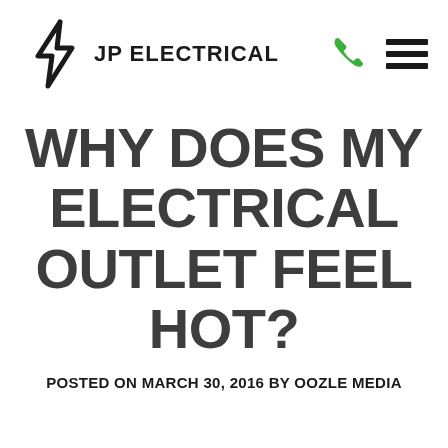JP ELECTRICAL
WHY DOES MY ELECTRICAL OUTLET FEEL HOT?
POSTED ON MARCH 30, 2016 BY OOZLE MEDIA